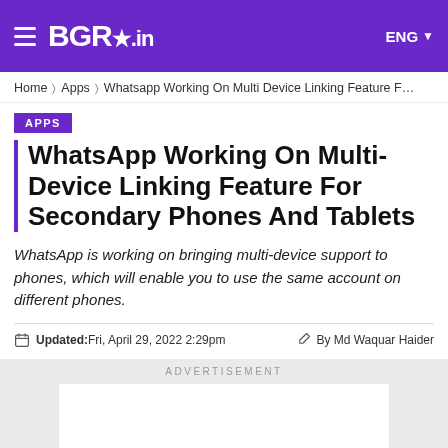BGR.in — ENG
Home > Apps > Whatsapp Working On Multi Device Linking Feature F…
APPS
WhatsApp Working On Multi-Device Linking Feature For Secondary Phones And Tablets
WhatsApp is working on bringing multi-device support to phones, which will enable you to use the same account on different phones.
Updated: Fri, April 29, 2022 2:29pm   By Md Waquar Haider
ADVERTISEMENT